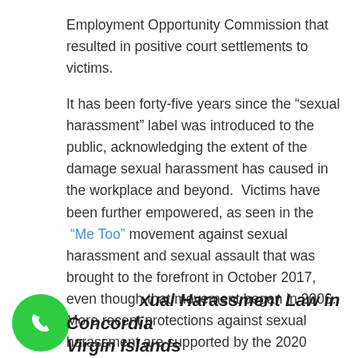Employment Opportunity Commission that resulted in positive court settlements to victims.

It has been forty-five years since the “sexual harassment” label was introduced to the public, acknowledging the extent of the damage sexual harassment has caused in the workplace and beyond.  Victims have been further empowered, as seen in the “Me Too” movement against sexual harassment and sexual assault that was brought to the forefront in October 2017, even though that movement began in 2006.  More recent protections against sexual harassment are supported by the 2020 Supreme Court of the United States ruling in favor of gay, lesbian, and transgender employee rights from discrimination based on sex under the Civil Rights Act of 1964.
Sexual Harassment Law in Concordia Virgin Islands